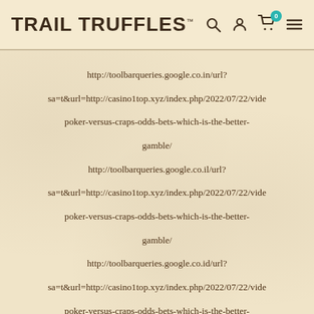TRAIL TRUFFLES™
http://toolbarqueries.google.co.in/url?sa=t&url=http://casino1top.xyz/index.php/2022/07/22/video-poker-versus-craps-odds-bets-which-is-the-better-gamble/
http://toolbarqueries.google.co.il/url?sa=t&url=http://casino1top.xyz/index.php/2022/07/22/video-poker-versus-craps-odds-bets-which-is-the-better-gamble/
http://toolbarqueries.google.co.id/url?sa=t&url=http://casino1top.xyz/index.php/2022/07/22/video-poker-versus-craps-odds-bets-which-is-the-better-gamble/
http://toolbarqueries.google.co.cr/url?sa=t&url=http://casino1top.xyz/index.php/2022/07/22/video-poker-versus-craps-odds-bets-which-is-the-better-gamble/
http://toolbarqueries.google.co.bw/url?